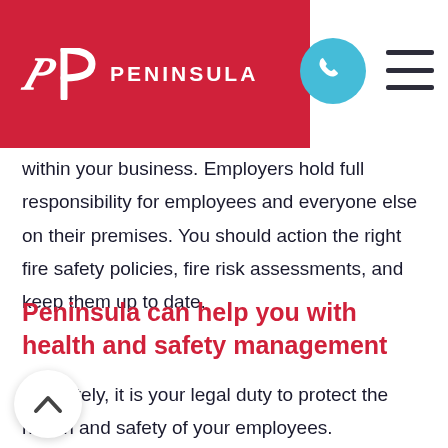PENINSULA
within your business. Employers hold full responsibility for employees and everyone else on their premises. You should action the right fire safety policies, fire risk assessments, and keep them up to date.
Peninsula can help you with health and safety management
Ultimately, it is your legal duty to protect the health and safety of your employees.